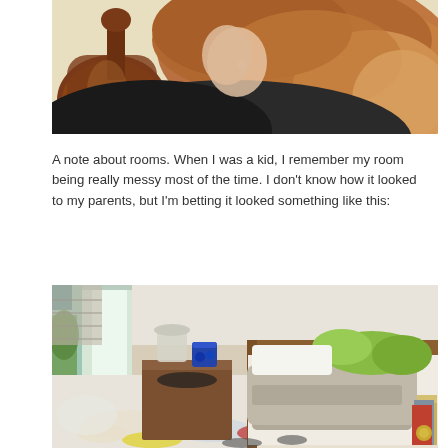[Figure (photo): Close-up of a young woman with long brown/auburn hair playing a violin, viewed from behind/side profile. Warm tones, blurred background.]
A note about rooms. When I was a kid, I remember my room being really messy most of the time. I don't know how it looked to my parents, but I'm betting it looked something like this:
[Figure (photo): A very messy, cluttered child's or teenager's bedroom with clothes, boxes, and items strewn all over the floor. An unmade bed with a gray blanket draped over it is visible in the background. Green stuffed animals or pillows are on the bed. Curtains let in light from a window on the left.]